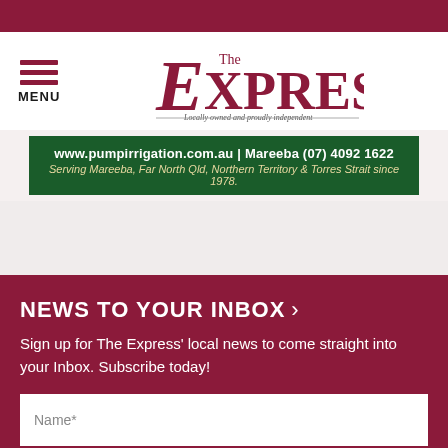[Figure (logo): The Express newspaper logo — large stylized 'Express' text with 'The' above, tagline 'Locally owned and proudly independent' below]
[Figure (other): Advertisement banner for pumpirrigation.com.au showing green background with URL www.pumpirrigation.com.au | Mareeba (07) 4092 1622 and tagline 'Serving Mareeba, Far North Qld, Northern Territory & Torres Strait since 1978.']
NEWS TO YOUR INBOX ›
Sign up for The Express' local news to come straight into your Inbox. Subscribe today!
Name*
Email*